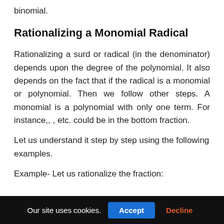binomial.
Rationalizing a Monomial Radical
Rationalizing a surd or radical (in the denominator) depends upon the degree of the polynomial. It also depends on the fact that if the radical is a monomial or polynomial. Then we follow other steps. A monomial is a polynomial with only one term. For instance,, , etc. could be in the bottom fraction.
Let us understand it step by step using the following examples.
Example- Let us rationalize the fraction:
Our site uses cookies.
Accept
Decline